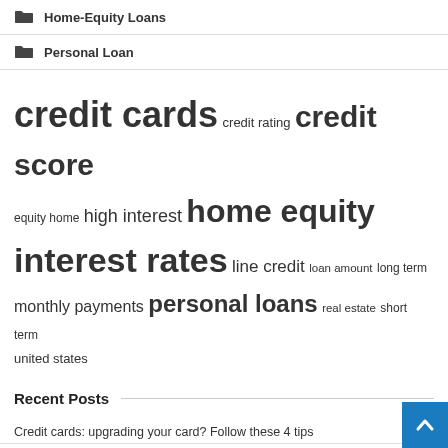Home-Equity Loans
Personal Loan
[Figure (infographic): Tag cloud with finance-related keywords in varying font sizes: credit cards (very large), credit score (large), credit rating (medium), home equity (large), high interest (medium), equity home (small), interest rates (very large), line credit (medium), loan amount (small), long term (small), monthly payments (medium), personal loans (large), real estate (small), short term (small), united states (small)]
Recent Posts
Credit cards: upgrading your card? Follow these 4 tips